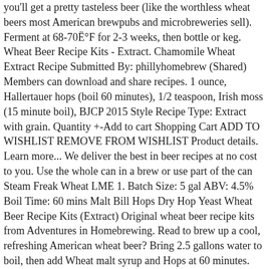you'll get a pretty tasteless beer (like the worthless wheat beers most American brewpubs and microbreweries sell). Ferment at 68-70°F for 2-3 weeks, then bottle or keg. Wheat Beer Recipe Kits - Extract. Chamomile Wheat Extract Recipe Submitted By: phillyhomebrew (Shared) Members can download and share recipes. 1 ounce, Hallertauer hops (boil 60 minutes), 1/2 teaspoon, Irish moss (15 minute boil), BJCP 2015 Style Recipe Type: Extract with grain. Quantity +-Add to cart Shopping Cart ADD TO WISHLIST REMOVE FROM WISHLIST Product details. Learn more... We deliver the best in beer recipes at no cost to you. Use the whole can in a brew or use part of the can Steam Freak Wheat LME 1. Batch Size: 5 gal ABV: 4.5% Boil Time: 60 mins Malt Bill Hops Dry Hop Yeast Wheat Beer Recipe Kits (Extract) Original wheat beer recipe kits from Adventures in Homebrewing. Read to brew up a cool, refreshing American wheat beer? Bring 2.5 gallons water to boil, then add Wheat malt syrup and Hops at 60 minutes. Enjoy this American wheat beer for its medium hopping and neutral, oh-so-drinkable finish; this is one spritzy, refreshing, warm-weather crowd-pleaser. If possible, ferment at 95–104°F (35–40°C). guides Willamette hops at